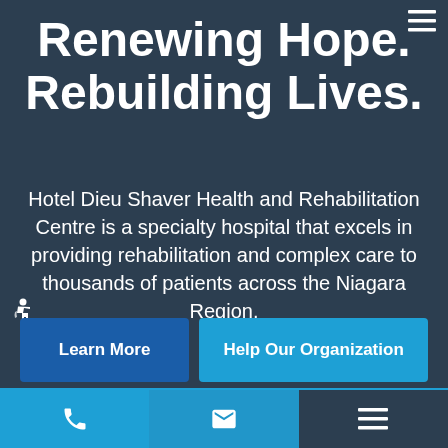Renewing Hope. Rebuilding Lives.
Hotel Dieu Shaver Health and Rehabilitation Centre is a specialty hospital that excels in providing rehabilitation and complex care to thousands of patients across the Niagara Region.
Learn More
Help Our Organization
Phone | Email | Menu